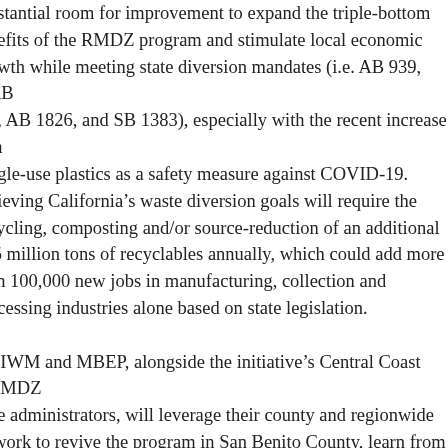bstantial room for improvement to expand the triple-bottom nefits of the RMDZ program and stimulate local economic owth while meeting state diversion mandates (i.e. AB 939, AB 1, AB 1826, and SB 1383), especially with the recent increase in ngle-use plastics as a safety measure against COVID-19. hieving California's waste diversion goals will require the cycling, composting and/or source-reduction of an additional .5 million tons of recyclables annually, which could add more an 100,000 new jobs in manufacturing, collection and ocessing industries alone based on state legislation. CIWM and MBEP, alongside the initiative's Central Coast RMDZ ne administrators, will leverage their county and regionwide twork to revive the program in San Benito County, learn from d share ideas with other cities and counties in the region, and t businesses the resources and guidance they need to increase eir bottom line while preserving our environment and creating w jobs. The California Recycling Economic Information Study veals how diversion creates twice as many jobs, double the ome, and twice the sales per ton of material than disposal